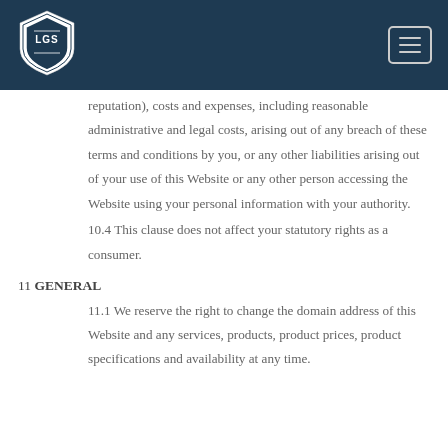[Figure (logo): Shield-shaped logo with LGS letters, white on dark navy background]
reputation), costs and expenses, including reasonable administrative and legal costs, arising out of any breach of these terms and conditions by you, or any other liabilities arising out of your use of this Website or any other person accessing the Website using your personal information with your authority.
10.4 This clause does not affect your statutory rights as a consumer.
11 GENERAL
11.1 We reserve the right to change the domain address of this Website and any services, products, product prices, product specifications and availability at any time.